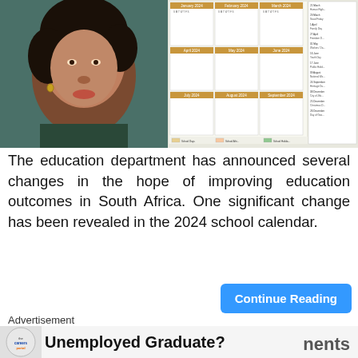[Figure (photo): Left half: photo of a woman with curly hair wearing a hoop earring. Right half: 2024 school calendar grid with months, holiday markings, and a legend listing dates and public holidays including Human Rights Day, Good Friday, Family Day, Freedom Day, Workers Day, Youth Day, Public Holidays Day, National Women's Day, Heritage Day, City of Joburg holiday, Christmas Day, Day of Goodwill.]
The education department has announced several changes in the hope of improving education outcomes in South Africa. One significant change has been revealed in the 2024 school calendar.
Continue Reading
Advertisement
[Figure (logo): CareersPortal logo circle with text 'the careersportal']
Unemployed Graduate?